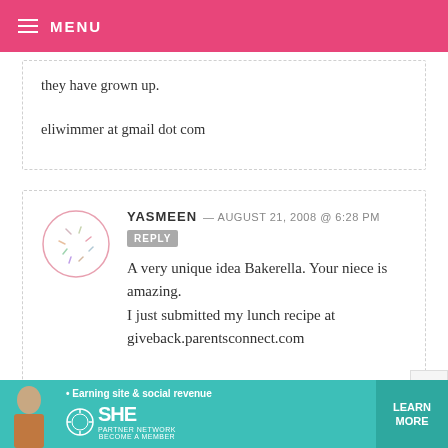MENU
they have grown up.

eliwimmer at gmail dot com
YASMEEN — AUGUST 21, 2008 @ 6:28 PM
A very unique idea Bakerella. Your niece is amazing.
I just submitted my lunch recipe at giveback.parentsconnect.com
[Figure (infographic): SHE Partner Network advertisement banner with photo of woman, teal background, and Learn More button]